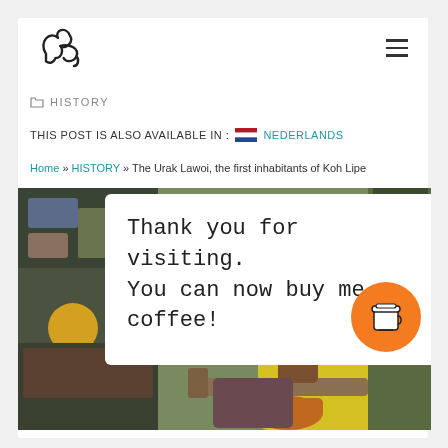[logo] [hamburger menu]
HISTORY
THIS POST IS ALSO AVAILABLE IN : Nederlands
Home » HISTORY » The Urak Lawoi, the first inhabitants of Koh Lipe
[Figure (photo): Photo of a person in a yellow shirt sitting at a market stall with colorful fabrics and goods, overlaid with a white popup box saying 'Thank you for visiting. You can now buy me a coffee!' and an orange coffee cup button]
Thank you for visiting. You can now buy me a coffee!